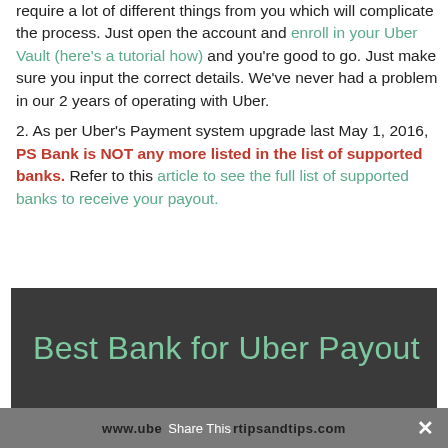require a lot of different things from you which will complicate the process. Just open the account and enroll in your Uber Vault (here's a tutorial how) and you're good to go. Just make sure you input the correct details. We've never had a problem in our 2 years of operating with Uber.
2. As per Uber's Payment system upgrade last May 1, 2016, PS Bank is NOT any more listed in the list of supported banks. Refer to this article to see the full list of supported banks to receive your payout.
[Figure (other): Dark banner image with text 'Best Bank for Uber Payout' in green on dark background]
www.ubertipsandtips.com  Share This  ✕